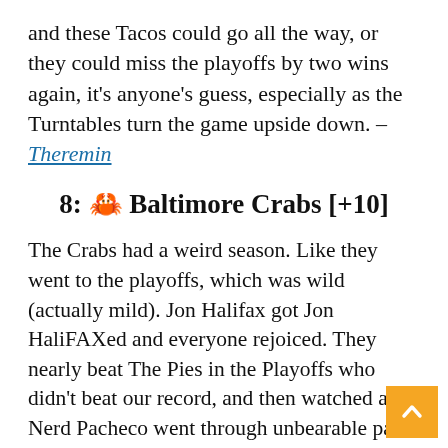and these Tacos could go all the way, or they could miss the playoffs by two wins again, it's anyone's guess, especially as the Turntables turn the game upside down. –Theremin
8: 🦀 Baltimore Crabs [+10]
The Crabs had a weird season. Like they went to the playoffs, which was wild (actually mild). Jon Halifax got Jon HaliFAXed and everyone rejoiced. They nearly beat The Pies in the Playoffs who didn't beat our record, and then watched as Nerd Pacheco went through unbearable pain and then just let the Pies beat us because that was really sad. But overall for the Crabs, a good season, a fun playoffs, and hope abound for the future.
In the election… nothing happened to the Crabs.